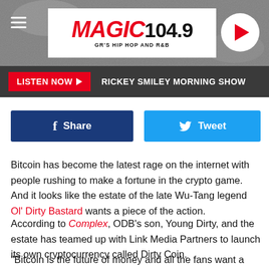[Figure (screenshot): Magic 104.9 radio station header with logo, hamburger menu, and play button on textured gray background]
MAGIC 104.9 GR'S HIP HOP AND R&B
LISTEN NOW ▶  RICKEY SMILEY MORNING SHOW
[Figure (infographic): Facebook Share button (dark blue) and Twitter Tweet button (light blue)]
Bitcoin has become the latest rage on the internet with people rushing to make a fortune in the crypto game. And it looks like the estate of the late Wu-Tang legend Ol' Dirty Bastard wants a piece of the action.
According to Complex, ODB's son, Young Dirty, and the estate has teamed up with Link Media Partners to launch its own cryptocurrency called Dirty Coin.
"Bitcoin is the future of money and all the fans want a part of the future of Ol' Dirty Bastard," said Young Dirty in a press